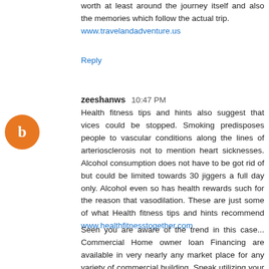worth at least around the journey itself and also the memories which follow the actual trip. www.travelandadventure.us
Reply
zeeshanws 10:47 PM
Health fitness tips and hints also suggest that vices could be stopped. Smoking predisposes people to vascular conditions along the lines of arteriosclerosis not to mention heart sicknesses. Alcohol consumption does not have to be got rid of but could be limited towards 30 jiggers a full day only. Alcohol even so has health rewards such for the reason that vasodilation. These are just some of what Health fitness tips and hints recommend www.healthfitnesstogether.com
Seen you are aware of the trend in this case... Commercial Home owner loan Financing are available in very nearly any market place for any variety of commercial building. Speak utilizing your Business Finance Broker remember when you are ready to invest in a Commercial Realty